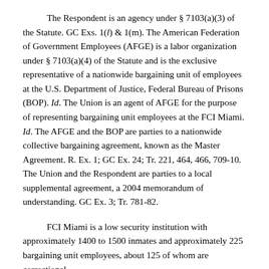The Respondent is an agency under § 7103(a)(3) of the Statute. GC Exs. 1(l) & 1(m). The American Federation of Government Employees (AFGE) is a labor organization under § 7103(a)(4) of the Statute and is the exclusive representative of a nationwide bargaining unit of employees at the U.S. Department of Justice, Federal Bureau of Prisons (BOP). Id. The Union is an agent of AFGE for the purpose of representing bargaining unit employees at the FCI Miami. Id. The AFGE and the BOP are parties to a nationwide collective bargaining agreement, known as the Master Agreement. R. Ex. 1; GC Ex. 24; Tr. 221, 464, 466, 709-10. The Union and the Respondent are parties to a local supplemental agreement, a 2004 memorandum of understanding. GC Ex. 3; Tr. 781-82.
FCI Miami is a low security institution with approximately 1400 to 1500 inmates and approximately 225 bargaining unit employees, about 125 of whom are correctional